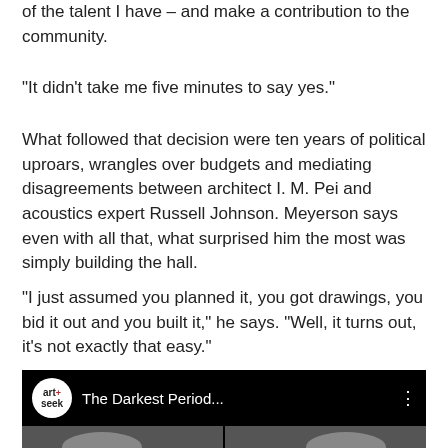of the talent I have – and make a contribution to the community.
“It didn’t take me five minutes to say yes.”
What followed that decision were ten years of political uproars, wrangles over budgets and mediating disagreements between architect I. M. Pei and acoustics expert Russell Johnson. Meyerson says even with all that, what surprised him the most was simply building the hall.
“I just assumed you planned it, you got drawings, you bid it out and you built it,” he says. “Well, it turns out, it’s not exactly that easy.”
[Figure (screenshot): Video thumbnail with art+seek logo and title 'The Darkest Period...' on black background, with two portrait thumbnails below]